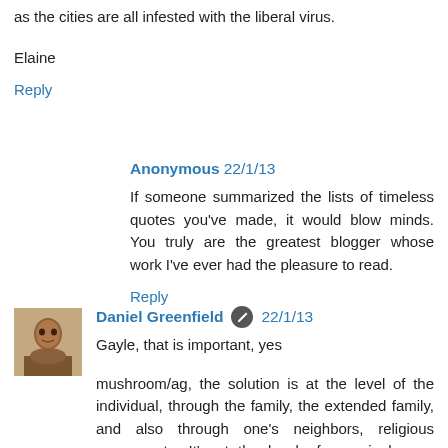as the cities are all infested with the liberal virus.
Elaine
Reply
Anonymous 22/1/13
If someone summarized the lists of timeless quotes you've made, it would blow minds. You truly are the greatest blogger whose work I've ever had the pleasure to read.
Reply
[Figure (photo): Avatar photo of Daniel Greenfield, small portrait thumbnail]
Daniel Greenfield 22/1/13
Gayle, that is important, yes
mushroom/ag, the solution is at the level of the individual, through the family, the extended family, and also through one's neighbors, religious groups, etc. It's at the level of organic human interactions and identities, rather than